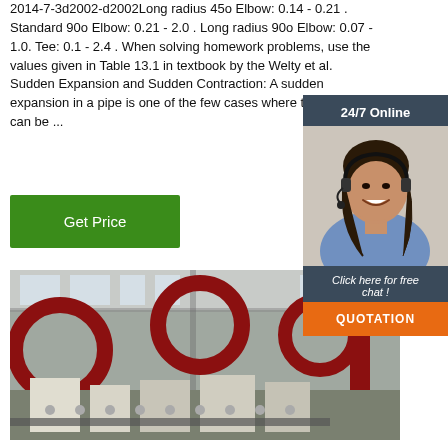2014-7-3d2002-d2002Long radius 45o Elbow: 0.14 - 0.21 . Standard 90o Elbow: 0.21 - 2.0 . Long radius 90o Elbow: 0.07 - 1.0. Tee: 0.1 - 2.4 . When solving homework problems, use the values given in Table 13.1 in textbook by the Welty et al. Sudden Expansion and Sudden Contraction: A sudden expansion in a pipe is one of the few cases where the losses can be ...
Get Price
[Figure (photo): Industrial factory floor with large red pipe bends/elbows and manufacturing machinery]
[Figure (illustration): 24/7 Online chat widget with female customer service representative wearing headset, with 'Click here for free chat!' text and QUOTATION button]